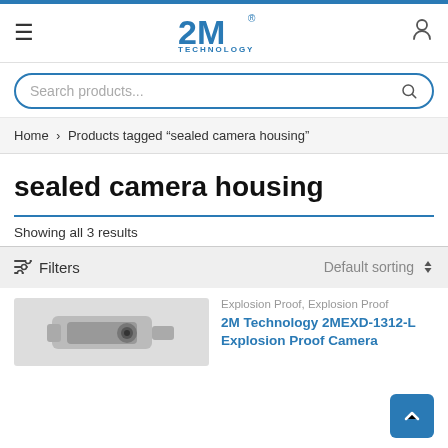[Figure (logo): 2M Technology logo in blue]
Search products...
Home > Products tagged "sealed camera housing"
sealed camera housing
Showing all 3 results
Filters
Default sorting
Explosion Proof, Explosion Proof
2M Technology 2MEXD-1312-L Explosion Proof Camera